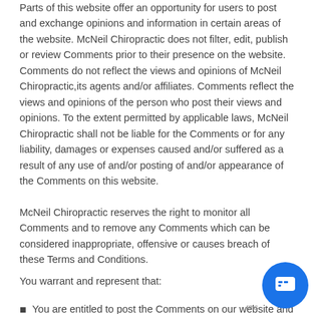Parts of this website offer an opportunity for users to post and exchange opinions and information in certain areas of the website. McNeil Chiropractic does not filter, edit, publish or review Comments prior to their presence on the website. Comments do not reflect the views and opinions of McNeil Chiropractic,its agents and/or affiliates. Comments reflect the views and opinions of the person who post their views and opinions. To the extent permitted by applicable laws, McNeil Chiropractic shall not be liable for the Comments or for any liability, damages or expenses caused and/or suffered as a result of any use of and/or posting of and/or appearance of the Comments on this website.
McNeil Chiropractic reserves the right to monitor all Comments and to remove any Comments which can be considered inappropriate, offensive or causes breach of these Terms and Conditions.
You warrant and represent that:
You are entitled to post the Comments on our website and